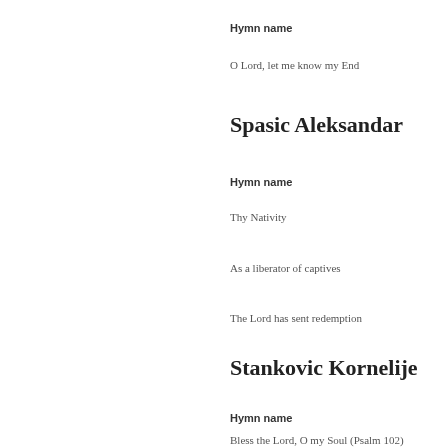Hymn name
O Lord, let me know my End
Spasic Aleksandar
Hymn name
Thy Nativity
As a liberator of captives
The Lord has sent redemption
Stankovic Kornelije
Hymn name
Bless the Lord, O my Soul (Psalm 102)